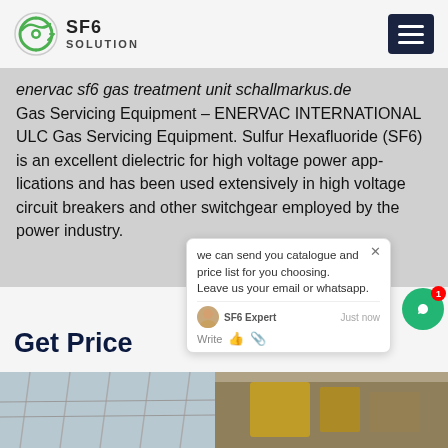SF6 SOLUTION
enervac sf6 gas treatment unit schallmarkus.de Gas Servicing Equipment – ENERVAC INTERNATIONAL ULC Gas Servicing Equipment. Sulfur Hexafluoride (SF6) is an excellent dielectric for high voltage power applications and has been used extensively in high voltage circuit breakers and other switchgear employed by the power industry.
Get Price
[Figure (photo): Left side: industrial high-voltage transmission line equipment with wires and frames. Right side: yellow industrial servicing equipment and instruments inside a building.]